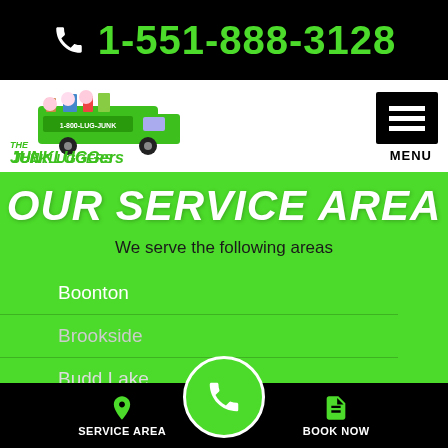1-551-888-3128
[Figure (logo): The Junkluggers logo with truck and cartoon characters]
OUR SERVICE AREA
We serve the following areas
Boonton
Brookside
Budd Lake
Cedar Knolls
Chatham
SERVICE AREA   BOOK NOW